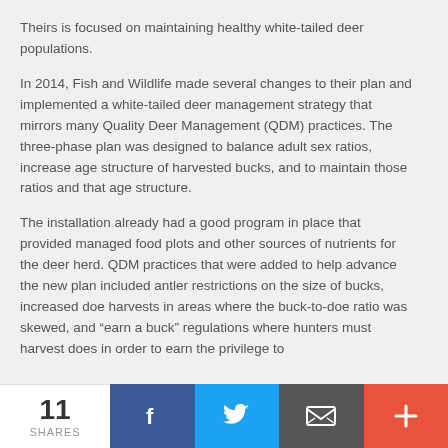Theirs is focused on maintaining healthy white-tailed deer populations.
In 2014, Fish and Wildlife made several changes to their plan and implemented a white-tailed deer management strategy that mirrors many Quality Deer Management (QDM) practices. The three-phase plan was designed to balance adult sex ratios, increase age structure of harvested bucks, and to maintain those ratios and that age structure.
The installation already had a good program in place that provided managed food plots and other sources of nutrients for the deer herd. QDM practices that were added to help advance the new plan included antler restrictions on the size of bucks, increased doe harvests in areas where the buck-to-doe ratio was skewed, and “earn a buck” regulations where hunters must harvest does in order to earn the privilege to
11 SHARES | Facebook | Twitter | Email | +